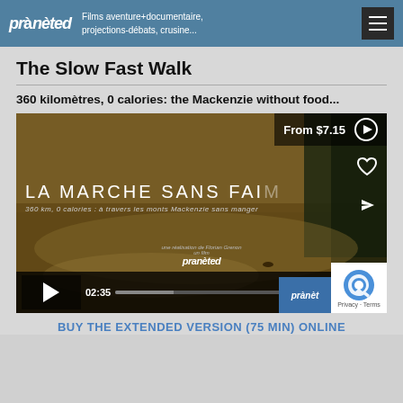praneted — Films aventure+documentaire, projections-débats, crusine...
The Slow Fast Walk
360 kilomètres, 0 calories: the Mackenzie without food...
[Figure (screenshot): Video player showing film 'La Marche Sans Faim — 360 km, 0 calories: à travers les monts Mackenzie sans manger'. Player shows timer 02:35, play button, progress bar, CC, settings and fullscreen controls. Top right overlay shows 'From $7.15' with play and heart icons. Bottom right shows branded logos including a reCAPTCHA icon with 'Privacy · Terms'.]
BUY THE EXTENDED VERSION (75 MIN) ONLINE